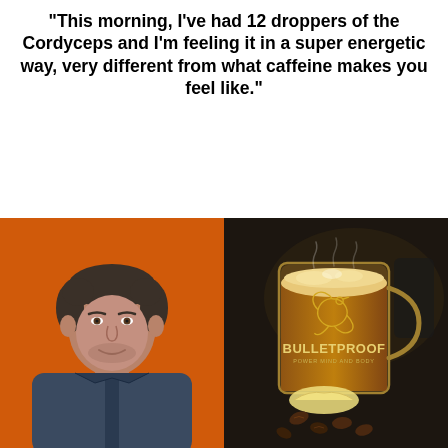"This morning, I've had 12 droppers of the Cordyceps and I'm feeling it in a super energetic way, very different from what caffeine makes you feel like."
[Figure (photo): Split image: left half shows a man with short dark hair smiling against a bright orange background wearing a dark zip-up jacket; right half shows a Bulletproof branded glass mug filled with frothy coffee/latte, with coffee beans and butter visible in the foreground, on a dark background. The mug has a bird logo and reads 'BULLETPROOF POWER MIND AND BODY'.]